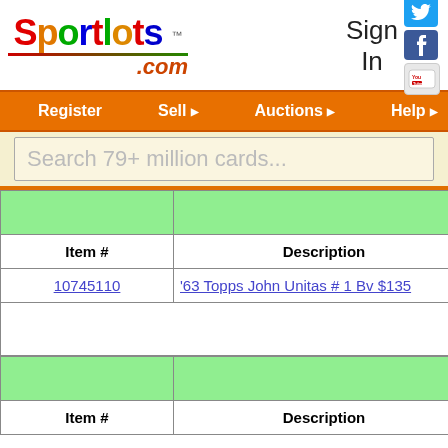[Figure (logo): Sportlots.com logo with colorful letters and Twitter, Facebook, YouTube social icons; Sign In text]
Register  Sell  Auctions  Help
Search 79+ million cards...
| Item # | Description |
| --- | --- |
| 10745110 | '63 Topps John Unitas # 1 Bv $135 |
| Item # | Description |
| --- | --- |